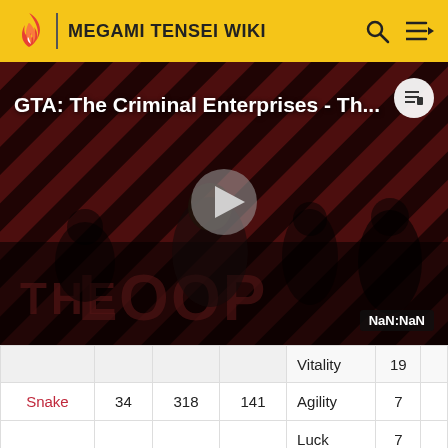MEGAMI TENSEI WIKI
[Figure (screenshot): Video thumbnail showing GTA: The Criminal Enterprises promotional art with characters on a striped background. Title reads 'GTA: The Criminal Enterprises - Th...' with a play button overlay, THE LOOP logo visible, and NaN:NaN timestamp.]
|  |  |  |  | Vitality | 19 |  |
| Snake | 34 | 318 | 141 | Agility | 7 |  |
|  |  |  |  | Luck | 7 |  |
|  |  |  |  |  |  |  |